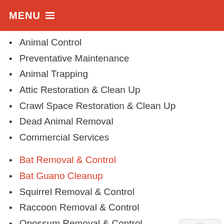MENU
Animal Control
Preventative Maintenance
Animal Trapping
Attic Restoration & Clean Up
Crawl Space Restoration & Clean Up
Dead Animal Removal
Commercial Services
Bat Removal & Control
Bat Guano Cleanup
Squirrel Removal & Control
Raccoon Removal & Control
Opossum Removal & Control
Skunk Removal & Control